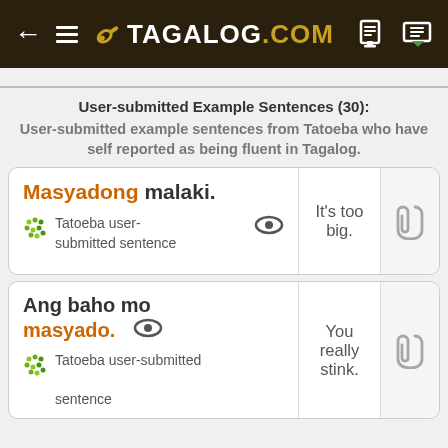← ≡ 🔑 TAGALOG.COM
User-submitted Example Sentences (30): User-submitted example sentences from Tatoeba who have self reported as being fluent in Tagalog.
| Tagalog | English | Link |
| --- | --- | --- |
| Masyadong malaki. | It's too big. |  |
| Ang baho mo masyado. | You really stink. |  |